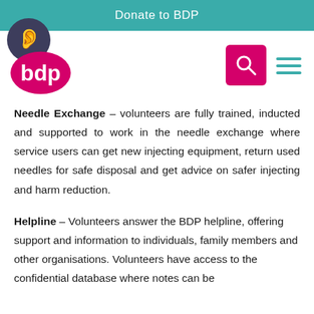Donate to BDP
[Figure (logo): BDP logo with ear accessibility icon, pink oval with 'bdp' text, plus search and hamburger menu icons]
Needle Exchange – volunteers are fully trained, inducted and supported to work in the needle exchange where service users can get new injecting equipment, return used needles for safe disposal and get advice on safer injecting and harm reduction.
Helpline – Volunteers answer the BDP helpline, offering support and information to individuals, family members and other organisations. Volunteers have access to the confidential database where notes can be